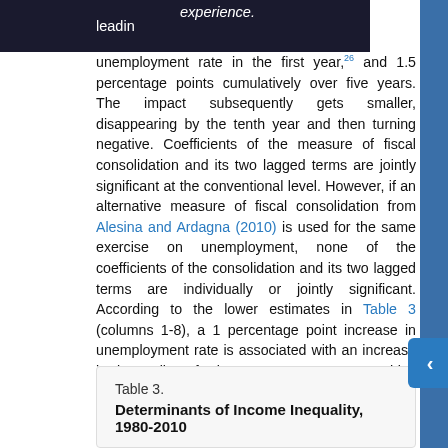leading ... experience. unemployment rate in the first year,26 and 1.5 percentage points cumulatively over five years. The impact subsequently gets smaller, disappearing by the tenth year and then turning negative. Coefficients of the measure of fiscal consolidation and its two lagged terms are jointly significant at the conventional level. However, if an alternative measure of fiscal consolidation from Alesina and Ardagna (2010) is used for the same exercise on unemployment, none of the coefficients of the consolidation and its two lagged terms are individually or jointly significant. According to the lower estimates in Table 3 (columns 1-8), a 1 percentage point increase in unemployment rate is associated with an increase in inequality of about 0.3-0.4 percent, which implies that about 15-20 percent of the increase in inequality due to consolidation may be occurring via the increase in unemployment.
Table 3.
Determinants of Income Inequality, 1980-2010